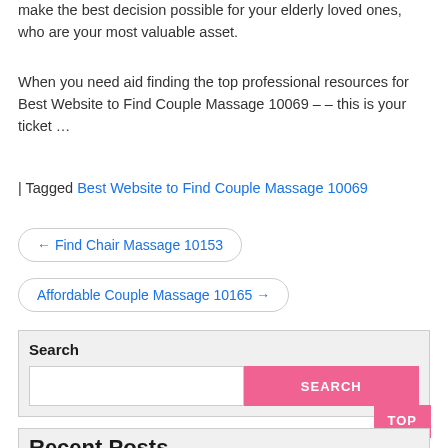make the best decision possible for your elderly loved ones, who are your most valuable asset.
When you need aid finding the top professional resources for Best Website to Find Couple Massage 10069 – – this is your ticket …
| Tagged Best Website to Find Couple Massage 10069
← Find Chair Massage 10153
Affordable Couple Massage 10165 →
Search
Recent Posts